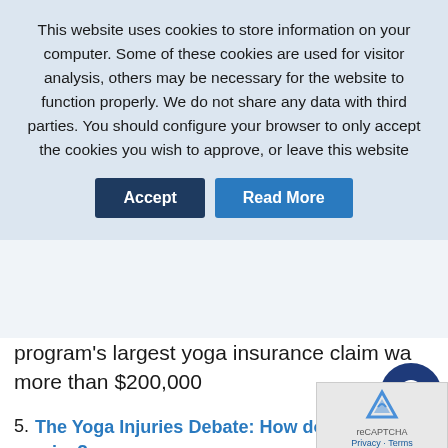This website uses cookies to store information on your computer. Some of these cookies are used for visitor analysis, others may be necessary for the website to function properly. We do not share any data with third parties. You should configure your browser to only accept the cookies you wish to approve, or leave this website
Accept | Read More
program's largest yoga insurance claim wa… more than $200,000
5. The Yoga Injuries Debate: How do claims arise?
To answer this I have looked through our ow… records to compare with the US agency mentioned above.